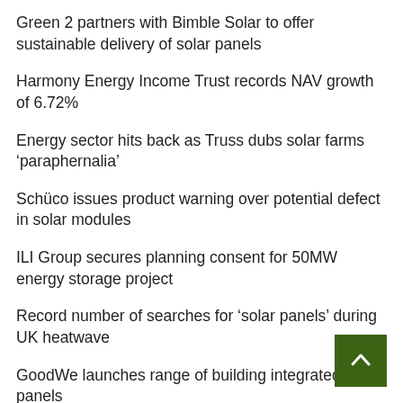Green 2 partners with Bimble Solar to offer sustainable delivery of solar panels
Harmony Energy Income Trust records NAV growth of 6.72%
Energy sector hits back as Truss dubs solar farms ‘paraphernalia’
Schüco issues product warning over potential defect in solar modules
ILI Group secures planning consent for 50MW energy storage project
Record number of searches for ‘solar panels’ during UK heatwave
GoodWe launches range of building integrated solar panels
Gresham House secures fourth solar farm from Anesco